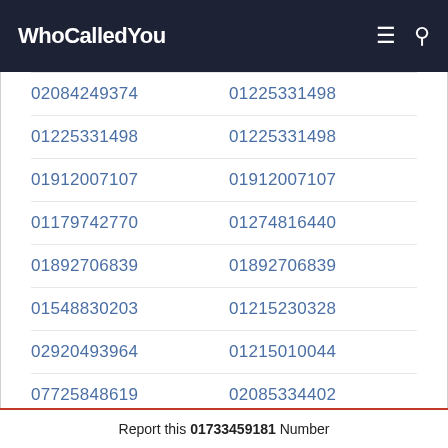WhoCalledYou
02084249374   01225331498
01225331498   01225331498
01912007107   01912007107
01179742770   01274816440
01892706839   01892706839
01548830203   01215230328
02920493964   01215010044
07725848619   02085334402
02085334402   01737462665
Report this 01733459181 Number